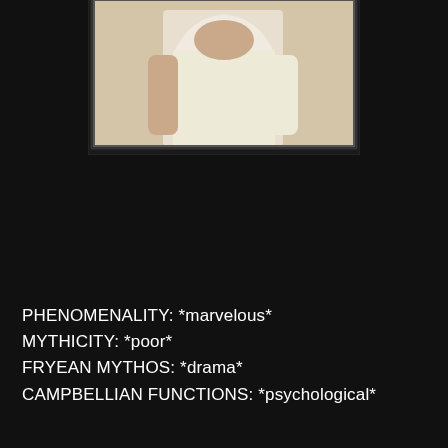[Figure (photo): Partial photo of a person wearing a white t-shirt, framed with a dark border, showing upper body/torso, cropped at top of page]
PHENOMENALITY: *marvelous*
MYTHICITY: *poor*
FRYEAN MYTHOS: *drama*
CAMPBELLIAN FUNCTIONS: *psychological*